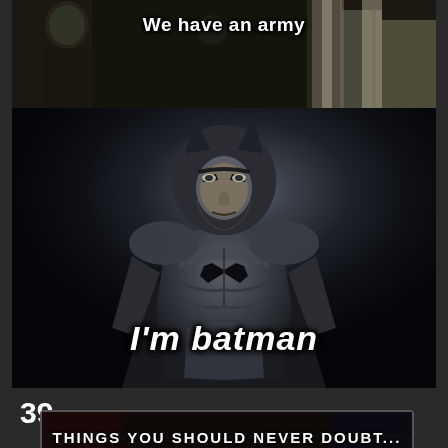[Figure (photo): Top meme panel with two figures and text 'We have an army' in white bold font on a dark background]
[Figure (photo): Batman in full costume standing against dark background with white bold italic text 'I'm batman' at the bottom]
39.
[Figure (photo): Bottom partial meme panel with text 'THINGS YOU SHOULD NEVER DOUBT...' in white uppercase bold letters]